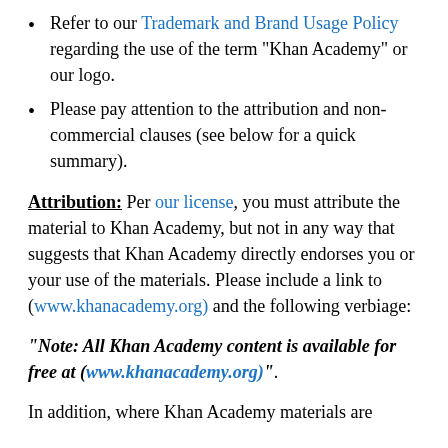Refer to our Trademark and Brand Usage Policy regarding the use of the term "Khan Academy" or our logo.
Please pay attention to the attribution and non-commercial clauses (see below for a quick summary).
Attribution: Per our license, you must attribute the material to Khan Academy, but not in any way that suggests that Khan Academy directly endorses you or your use of the materials. Please include a link to (www.khanacademy.org) and the following verbiage:
"Note: All Khan Academy content is available for free at (www.khanacademy.org)".
In addition, where Khan Academy materials are